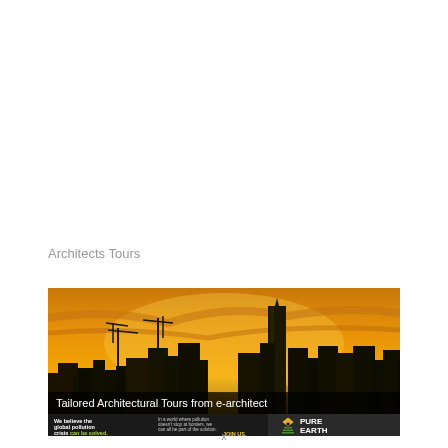Architects Tours
[Figure (photo): City skyline silhouette at sunset with orange sky and construction cranes, with overlaid text 'Tailored Architectural Tours from e-architect' and an advertisement banner for Pure Earth organization]
x